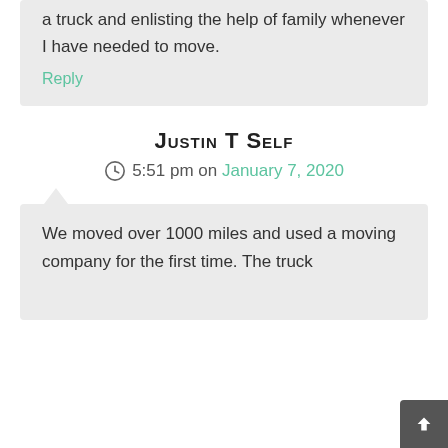a truck and enlisting the help of family whenever I have needed to move.
Reply
Justin T Self
5:51 pm on January 7, 2020
We moved over 1000 miles and used a moving company for the first time. The truck